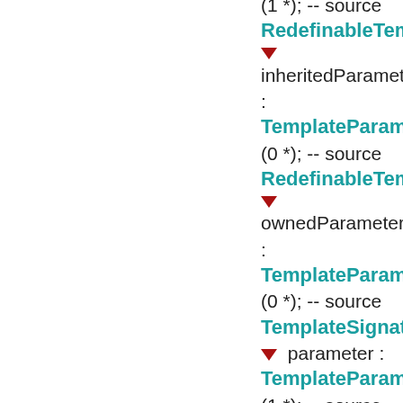(1 *); -- source
RedefinableTempl...
▼ inheritedParameter
:
TemplateParamete...
(0 *); -- source
RedefinableTempl...
▼ ownedParameter
:
TemplateParamete...
(0 *); -- source
TemplateSignature...
▼ parameter :
TemplateParamete...
(1 *); -- source
TemplateSignature...
▼ isLeaf :
Boolean (1 1)...